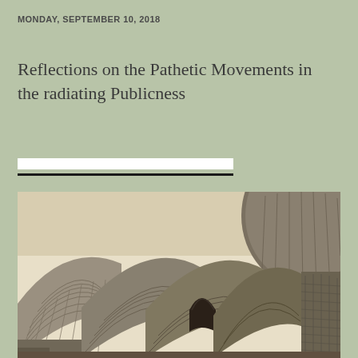MONDAY, SEPTEMBER 10, 2018
Reflections on the Pathetic Movements in the radiating Publicness
[Figure (photo): Black and white historical photograph of ancient brick vaulted architecture, showing curved ribbed barrel vaults and domes of an old Middle Eastern or Persian building, with a large stone dome visible in the upper right corner.]